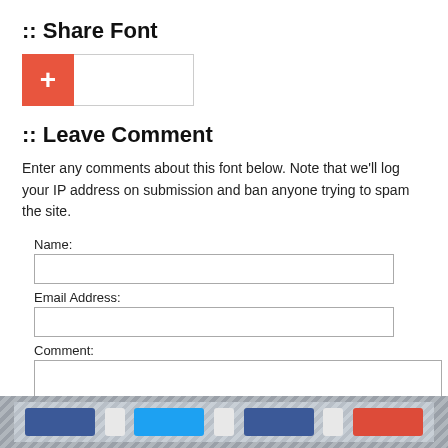:: Share Font
[Figure (other): Share Font UI with orange plus button and text input field]
:: Leave Comment
Enter any comments about this font below. Note that we'll log your IP address on submission and ban anyone trying to spam the site.
Name:
Email Address:
Comment:
Confirm Text:
[Figure (other): CAPTCHA image showing handwritten text '3151']
post comment
[Figure (other): Footer bar with social share buttons (Facebook, Twitter, Google+)]